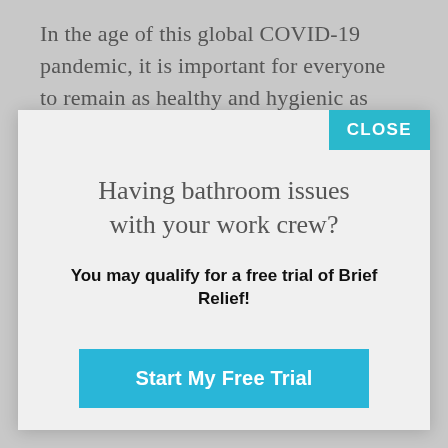In the age of this global COVID-19 pandemic, it is important for everyone to remain as healthy and hygienic as possible. While on the front line, first
[Figure (screenshot): Modal popup overlay with a teal CLOSE button in the top right corner, containing a title 'Having bathroom issues with your work crew?', a subtitle 'You may qualify for a free trial of Brief Relief!', and a blue 'Start My Free Trial' button.]